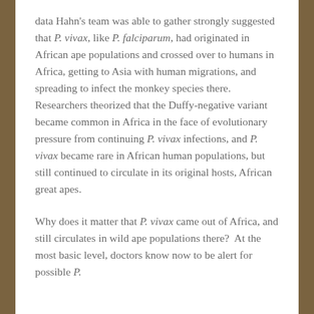data Hahn's team was able to gather strongly suggested that P. vivax, like P. falciparum, had originated in African ape populations and crossed over to humans in Africa, getting to Asia with human migrations, and spreading to infect the monkey species there. Researchers theorized that the Duffy-negative variant became common in Africa in the face of evolutionary pressure from continuing P. vivax infections, and P. vivax became rare in African human populations, but still continued to circulate in its original hosts, African great apes.
Why does it matter that P. vivax came out of Africa, and still circulates in wild ape populations there?  At the most basic level, doctors know now to be alert for possible P.